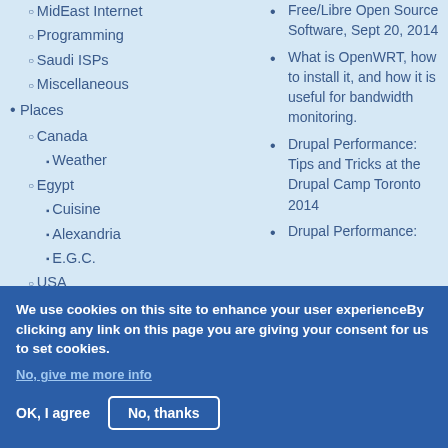MidEast Internet
Programming
Saudi ISPs
Miscellaneous
Places
Canada
Weather
Egypt
Cuisine
Alexandria
E.G.C.
USA
Saudi Arabia
Interests
Free/Libre Open Source Software, Sept 20, 2014
What is OpenWRT, how to install it, and how it is useful for bandwidth monitoring.
Drupal Performance: Tips and Tricks at the Drupal Camp Toronto 2014
Drupal Performance:
We use cookies on this site to enhance your user experienceBy clicking any link on this page you are giving your consent for us to set cookies.
No, give me more info
OK, I agree
No, thanks